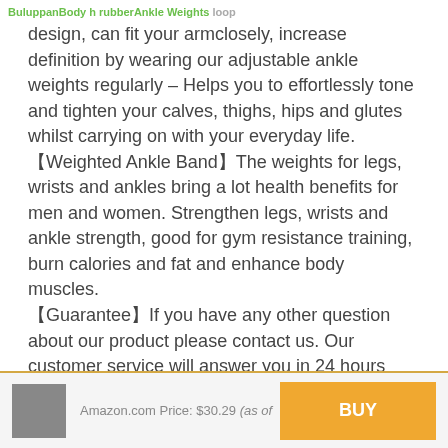Buluppan Body h rubber Ankle Weights loop
design, can fit your armclosely, increase definition by wearing our adjustable ankle weights regularly – Helps you to effortlessly tone and tighten your calves, thighs, hips and glutes whilst carrying on with your everyday life. 【Weighted Ankle Band】The weights for legs, wrists and ankles bring a lot health benefits for men and women. Strengthen legs, wrists and ankle strength, good for gym resistance training, burn calories and fat and enhance body muscles. 【Guarantee】If you have any other question about our product please contact us. Our customer service will answer you in 24 hours and help you solve the problem.
Amazon.com Price: $30.29 (as of    BUY